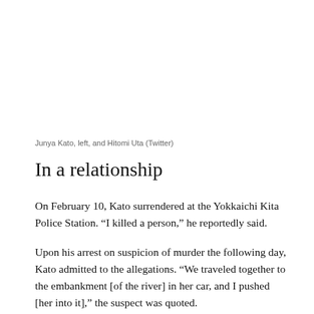Junya Kato, left, and Hitomi Uta (Twitter)
In a relationship
On February 10, Kato surrendered at the Yokkaichi Kita Police Station. “I killed a person,” he reportedly said.
Upon his arrest on suspicion of murder the following day, Kato admitted to the allegations. “We traveled together to the embankment [of the river] in her car, and I pushed [her into it],” the suspect was quoted.